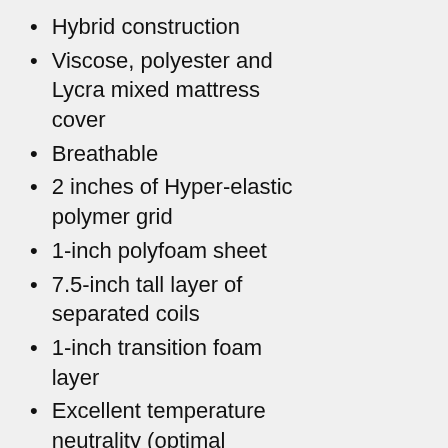Hybrid construction
Viscose, polyester and Lycra mixed mattress cover
Breathable
2 inches of Hyper-elastic polymer grid
1-inch polyfoam sheet
7.5-inch tall layer of separated coils
1-inch transition foam layer
Excellent temperature neutrality (optimal